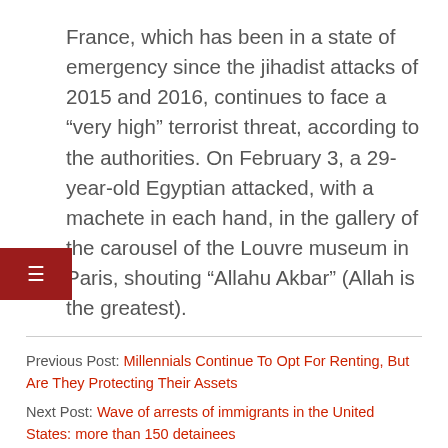France, which has been in a state of emergency since the jihadist attacks of 2015 and 2016, continues to face a “very high” terrorist threat, according to the authorities. On February 3, a 29-year-old Egyptian attacked, with a machete in each hand, in the gallery of the carousel of the Louvre museum in Paris, shouting “Allahu Akbar” (Allah is the greatest).
Previous Post: Millennials Continue To Opt For Renting, But Are They Protecting Their Assets
Next Post: Wave of arrests of immigrants in the United States: more than 150 detainees